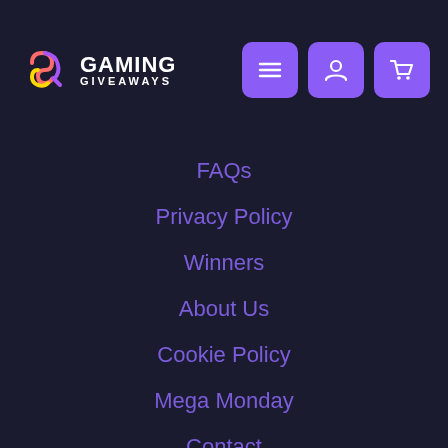[Figure (logo): Gaming Giveaways logo with colorful circular icon and white text]
FAQs
Privacy Policy
Winners
About Us
Cookie Policy
Mega Monday
Contact
Disclaimer
Monthly Draw